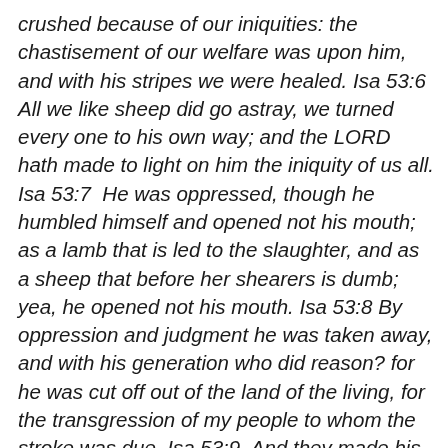crushed because of our iniquities: the chastisement of our welfare was upon him, and with his stripes we were healed. Isa 53:6  All we like sheep did go astray, we turned every one to his own way; and the LORD hath made to light on him the iniquity of us all. Isa 53:7  He was oppressed, though he humbled himself and opened not his mouth; as a lamb that is led to the slaughter, and as a sheep that before her shearers is dumb; yea, he opened not his mouth. Isa 53:8 By oppression and judgment he was taken away, and with his generation who did reason? for he was cut off out of the land of the living, for the transgression of my people to whom the stroke was due. Isa 53:9  And they made his grave with the wicked, and with the rich his tomb; although he had done no violence, neither was any deceit in his mouth.' Isa 53:10  Yet it pleased the LORD to crush him by disease; to see if his